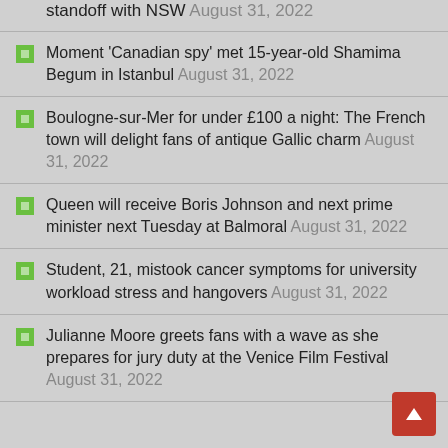standoff with NSW August 31, 2022
Moment 'Canadian spy' met 15-year-old Shamima Begum in Istanbul August 31, 2022
Boulogne-sur-Mer for under £100 a night: The French town will delight fans of antique Gallic charm August 31, 2022
Queen will receive Boris Johnson and next prime minister next Tuesday at Balmoral August 31, 2022
Student, 21, mistook cancer symptoms for university workload stress and hangovers August 31, 2022
Julianne Moore greets fans with a wave as she prepares for jury duty at the Venice Film Festival August 31, 2022